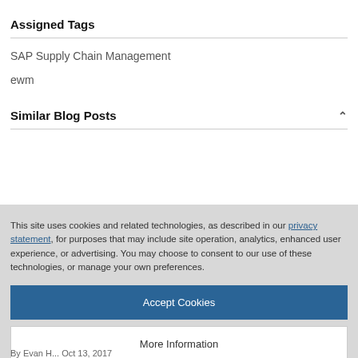Assigned Tags
SAP Supply Chain Management
ewm
Similar Blog Posts
This site uses cookies and related technologies, as described in our privacy statement, for purposes that may include site operation, analytics, enhanced user experience, or advertising. You may choose to consent to our use of these technologies, or manage your own preferences.
Accept Cookies
More Information
Privacy Policy | Powered by: TrustArc
By Evan H... Oct 13, 2017